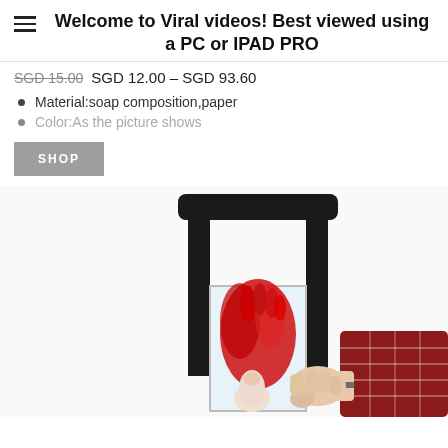Welcome to Viral videos! Best viewed using a PC or IPAD PRO
SGD 15.00  SGD 12.00 – SGD 93.60
Material:soap composition,paper
Color:As the picture shows
SHOP
[Figure (photo): A guillotine magic trick toy prop showing a black frame with a clear acrylic compartment. Inside the compartment are red bloody handprints and a white finger/thumb appearing to be cut. A person's hand wearing a plaid shirt and bracelet is reaching for the prop from the right side.]